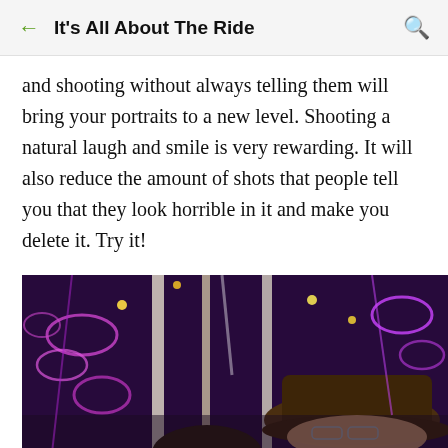It's All About The Ride
and shooting without always telling them will bring your portraits to a new level. Shooting a natural laugh and smile is very rewarding. It will also reduce the amount of shots that people tell you that they look horrible in it and make you delete it. Try it!
[Figure (photo): Person wearing a brown cowboy hat with glasses, photographed in front of colorful purple and white Christmas lights at night]